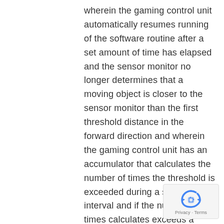wherein the gaming control unit automatically resumes running of the software routine after a set amount of time has elapsed and the sensor monitor no longer determines that a moving object is closer to the sensor monitor than the first threshold distance in the forward direction and wherein the gaming control unit has an accumulator that calculates the number of times the threshold is exceeded during a set time interval and if the number of times calculates exceeds a threshold number, the software routine pauses the software routine until a set code is communicated to the gaming control unit.
[Figure (logo): reCAPTCHA logo with Privacy and Terms links]